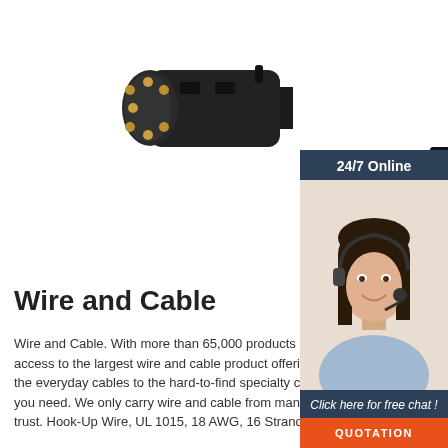[Figure (photo): Two black 7-pin trailer connector plugs, one large cylindrical plug showing gold pins from the side and a smaller round connector viewed from the front showing 7 gold pins arranged in a circle.]
[Figure (photo): Customer service agent: smiling woman with dark hair wearing a headset, wearing a light blue shirt. Sidebar with dark blue background showing '24/7 Online', 'Click here for free chat!', and an orange QUOTATION button.]
Wire and Cable
Wire and Cable. With more than 65,000 products in stock, you have access to the largest wire and cable product offering in the world. From the everyday cables to the hard-to-find specialty cables, Anixter has what you need. We only carry wire and cable from manufacturers you can trust. Hook-Up Wire, UL 1015, 18 AWG, 16 Strands.